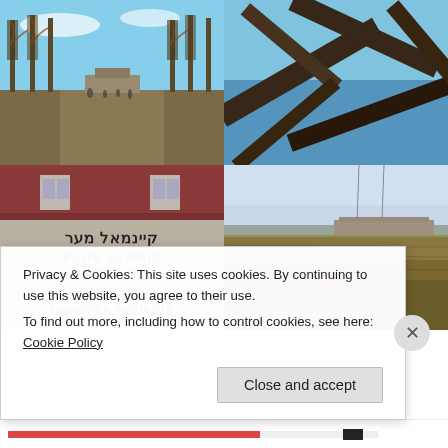[Figure (photo): Top-left: Tree-lined avenue at what appears to be Dachau concentration camp memorial site, with tall bare poplar trees, people walking in distance, under blue sky]
[Figure (photo): Top-right: Close-up of rusty barbed wire or fence structure against blue sky]
[Figure (photo): Bottom-left: Memorial wall with text in multiple languages reading 'PLUS JAMAIS / NEVER AGAIN / NIE WIEDER / НИКОГДА БОЛЬШЕ' (Never Again) with a building roof visible above]
[Figure (photo): Bottom-right: Open field at memorial site with a red flower or wreath on the ground, bare trees in background, overcast sky]
Privacy & Cookies: This site uses cookies. By continuing to use this website, you agree to their use.
To find out more, including how to control cookies, see here: Cookie Policy